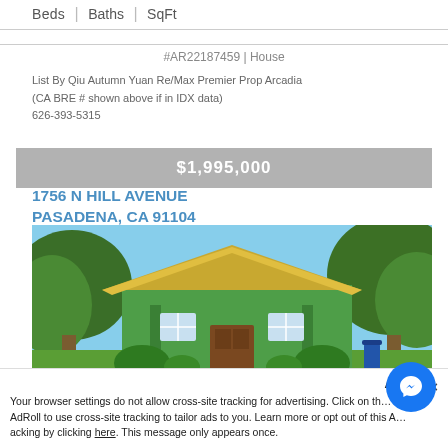Beds | Baths | SqFt
#AR22187459 | House
List By Qiu Autumn Yuan Re/Max Premier Prop Arcadia
(CA BRE # shown above if in IDX data)
626-393-5315
$1,995,000
1756 N HILL AVENUE
PASADENA, CA 91104
[Figure (photo): Exterior photo of a green craftsman-style house with yellow awning roof trim, large trees, stone pathway, and lush landscaping.]
Acce
Your browser settings do not allow cross-site tracking for advertising. Click on th... llow AdRoll to use cross-site tracking to tailor ads to you. Learn more or opt out of this A... acking by clicking here. This message only appears once.